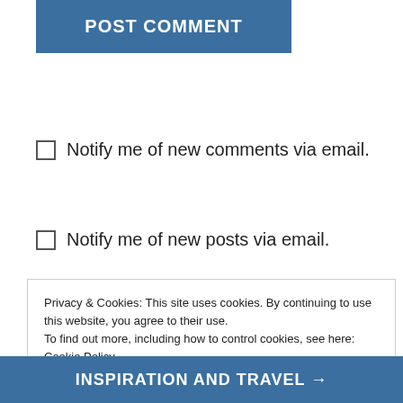POST COMMENT
Notify me of new comments via email.
Notify me of new posts via email.
This site uses Akismet to reduce spam. Learn how your comment data is processed.
Privacy & Cookies: This site uses cookies. By continuing to use this website, you agree to their use.
To find out more, including how to control cookies, see here: Cookie Policy
Close and accept
INSPIRATION AND TRAVEL →